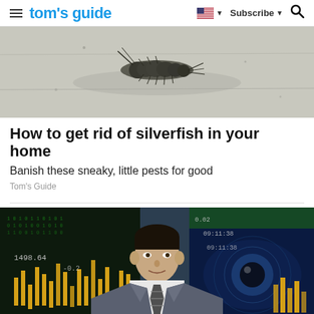tom's guide | Subscribe
[Figure (photo): Close-up photo of a silverfish insect on a light gray surface]
How to get rid of silverfish in your home
Banish these sneaky, little pests for good
Tom's Guide
[Figure (photo): Man in a gray suit speaking in front of a financial data screen background showing stock charts and currency imagery including numbers 1498.64, 0.02, 09:11:38]